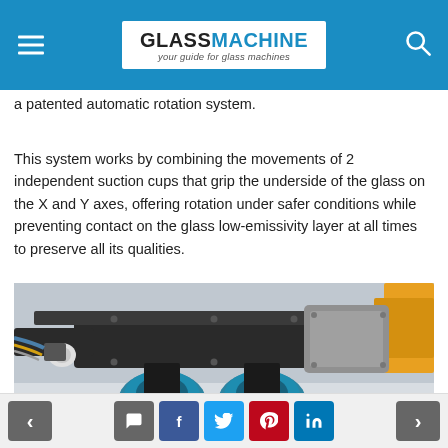GLASSMACHINE your guide for glass machines
a patented automatic rotation system.
This system works by combining the movements of 2 independent suction cups that grip the underside of the glass on the X and Y axes, offering rotation under safer conditions while preventing contact on the glass low-emissivity layer at all times to preserve all its qualities.
[Figure (photo): Close-up photograph of an industrial glass handling machine showing suction cup mechanism with black housing, grey control box, and blue suction cups gripping glass surface.]
Navigation: previous, comment, facebook, twitter, pinterest, linkedin, next